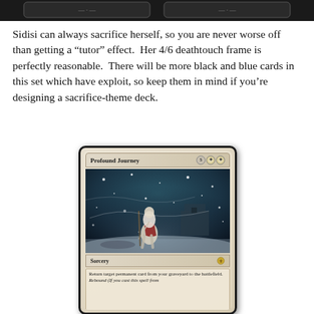[Figure (illustration): Top portion of a Magic: The Gathering card (dark background strip) cropped at the top of the page.]
Sidisi can always sacrifice herself, so you are never worse off than getting a “tutor” effect.  Her 4/6 deathtouch frame is perfectly reasonable.  There will be more black and blue cards in this set which have exploit, so keep them in mind if you’re designing a sacrifice-theme deck.
[Figure (illustration): Magic: The Gathering card named 'Profound Journey'. Card cost is 5 plus two white mana symbols. Card type: Sorcery. Art shows a figure in white and red clothing walking through a blizzard/snowstorm scene. Card text reads: 'Return target permanent card from your graveyard to the battlefield. Rebound (If you cast this spell from...' [text cuts off].]